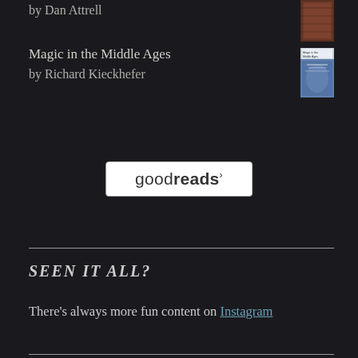by Dan Attrell
Magic in the Middle Ages
by Richard Kieckhefer
[Figure (illustration): Book cover thumbnail for Magic in the Middle Ages by Richard Kieckhefer]
[Figure (logo): Goodreads logo in a white rounded rectangle box]
SEEN IT ALL?
There's always more fun content on Instagram